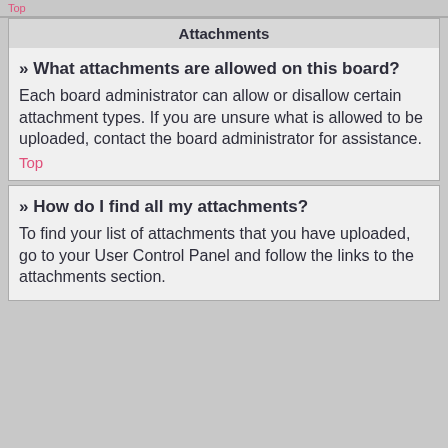Top
Attachments
» What attachments are allowed on this board?
Each board administrator can allow or disallow certain attachment types. If you are unsure what is allowed to be uploaded, contact the board administrator for assistance.
Top
» How do I find all my attachments?
To find your list of attachments that you have uploaded, go to your User Control Panel and follow the links to the attachments section.